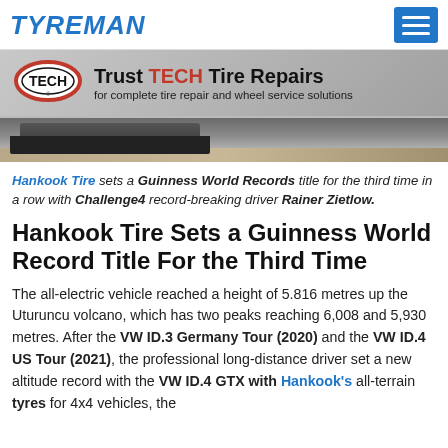TYREMAN
[Figure (illustration): TECH tire repair brand banner advertisement with TECH logo oval and text: Trust TECH Tire Repairs for complete tire repair and wheel service solutions, with a background photo of a vehicle near a volcano]
Hankook Tire sets a Guinness World Records title for the third time in a row with Challenge4 record-breaking driver Rainer Zietlow.
Hankook Tire Sets a Guinness World Record Title For the Third Time
The all-electric vehicle reached a height of 5.816 metres up the Uturuncu volcano, which has two peaks reaching 6,008 and 5,930 metres. After the VW ID.3 Germany Tour (2020) and the VW ID.4 US Tour (2021), the professional long-distance driver set a new altitude record with the VW ID.4 GTX with Hankook's all-terrain tyres for 4x4 vehicles, the